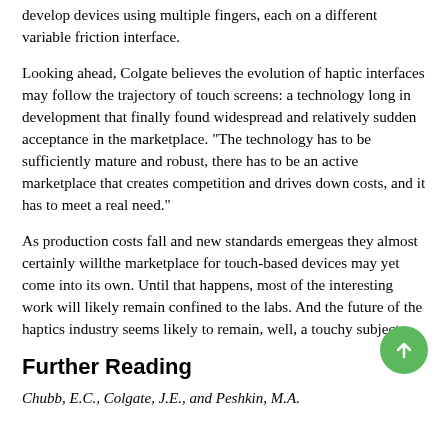develop devices using multiple fingers, each on a different variable friction interface.
Looking ahead, Colgate believes the evolution of haptic interfaces may follow the trajectory of touch screens: a technology long in development that finally found widespread and relatively sudden acceptance in the marketplace. "The technology has to be sufficiently mature and robust, there has to be an active marketplace that creates competition and drives down costs, and it has to meet a real need."
As production costs fall and new standards emergeas they almost certainly willthe marketplace for touch-based devices may yet come into its own. Until that happens, most of the interesting work will likely remain confined to the labs. And the future of the haptics industry seems likely to remain, well, a touchy subject.
Further Reading
Chubb, E.C., Colgate, J.E., and Peshkin, M.A.